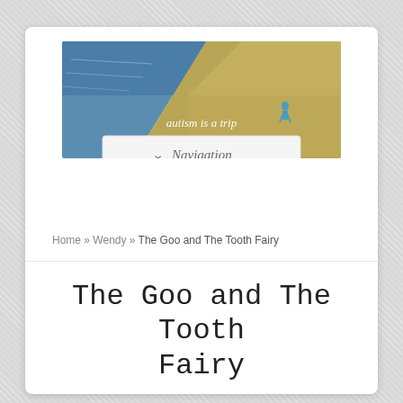[Figure (photo): Beach scene with water on the left and sandy shore on the right, a person walking on the beach, with 'autism is a trip' text overlay]
Navigation
Home » Wendy » The Goo and The Tooth Fairy
The Goo and The Tooth Fairy
Posted by wendy on Jun 6, 2011 | 2 comments